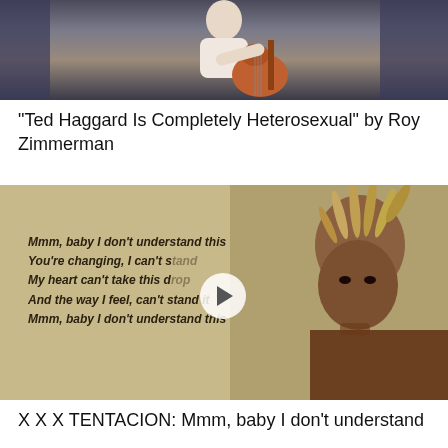[Figure (photo): Person playing acoustic guitar on stage with dark curtain background]
"Ted Haggard Is Completely Heterosexual" by Roy Zimmerman
[Figure (screenshot): Music video thumbnail showing song lyrics overlay on tan background with portrait of XXXTentacion. Lyrics: Mmm, baby I don't understand this / You're changing, I can't stand / My heart can't take this d... / And the way I feel, can't stand it / Mmm, baby I don't understand this]
X X X TENTACION: Mmm, baby I don't understand